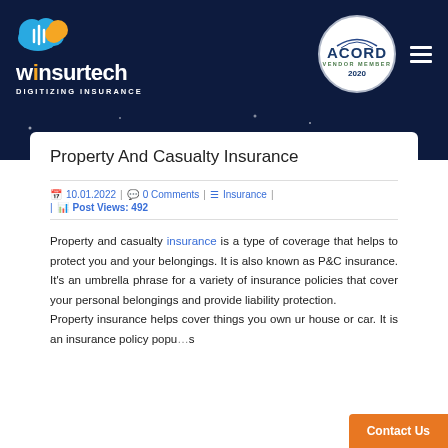winsurtech DIGITIZING INSURANCE | ACORD VENDOR MEMBER 2020
Property And Casualty Insurance
10.01.2022 | 0 Comments | Insurance | Post Views: 492
Property and casualty insurance is a type of coverage that helps to protect you and your belongings. It is also known as P&C insurance. It's an umbrella phrase for a variety of insurance policies that cover your personal belongings and provide liability protection.
Property insurance helps cover things you own, such as your house or car. It is an insurance policy popul...